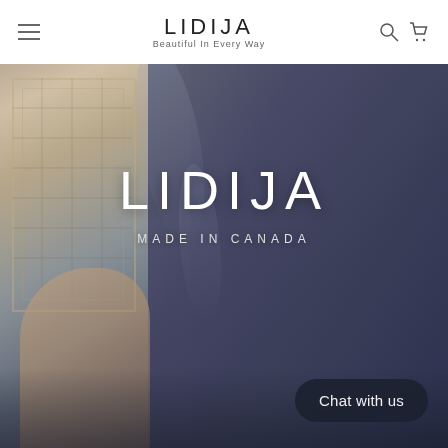LIDIJA — Beautiful In Every Way (navigation header with hamburger menu, logo, search and cart icons)
[Figure (photo): Hero photo of a person wearing a dark navy/slate blue short-sleeve dress or top, sitting against a patterned pillow on a couch. The fabric has folds and texture visible. A tattoo is visible on the arm. The image fills the lower portion of the page.]
LIDIJA
MADE IN CANADA
Chat with us